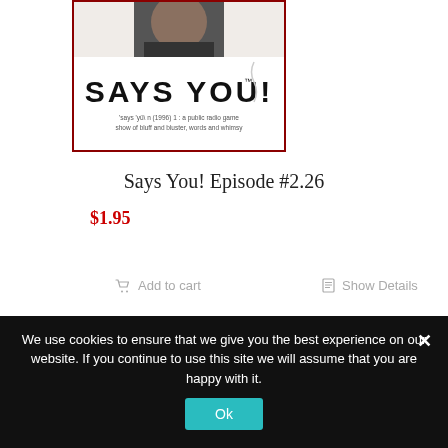[Figure (photo): Says You! episode album artwork showing 'SAYS YOU!' text on white/black background with a person in the image, red border]
Says You! Episode #2.26
$1.95
Add to cart
Show Details
[Figure (photo): Second product image with dark background showing a large number 2 and a person's face, red border]
We use cookies to ensure that we give you the best experience on our website. If you continue to use this site we will assume that you are happy with it.